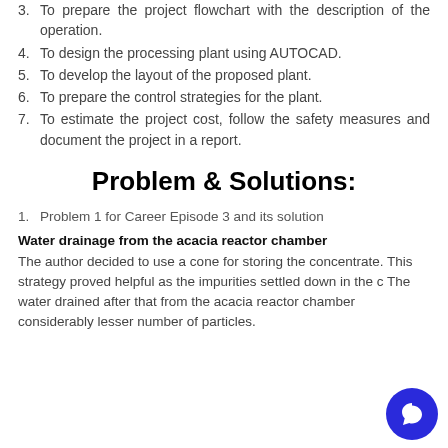3. To prepare the project flowchart with the description of the operation.
4. To design the processing plant using AUTOCAD.
5. To develop the layout of the proposed plant.
6. To prepare the control strategies for the plant.
7. To estimate the project cost, follow the safety measures and document the project in a report.
Problem & Solutions:
1. Problem 1 for Career Episode 3 and its solution
Water drainage from the acacia reactor chamber
The author decided to use a cone for storing the concentrate. This strategy proved helpful as the impurities settled down in the c The water drained after that from the acacia reactor chamber considerably lesser number of particles.